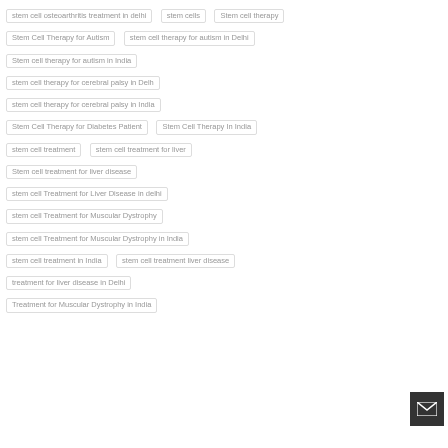stem cell osteoarthritis treatment in delhi
stem cells
Stem cell therapy
Stem Cell Therapy for Autism
stem cell therapy for autism in Delhi
Stem cell therapy for autism in India
stem cell therapy for cerebral palsy in Delh
stem cell therapy for cerebral palsy in India
Stem Cell Therapy for Diabetes Patient
Stem Cell Therapy In India
stem cell treatment
stem cell treatment for liver
Stem cell treatment for liver disease
stem cell Treatment for Liver Disease in delhi
stem cell Treatment for Muscular Dystrophy
stem cell Treatment for Muscular Dystrophy in India
stem cell treatment in India
stem cell treatment liver disease
treatment for liver disease in Delhi
Treatment for Muscular Dystrophy in India